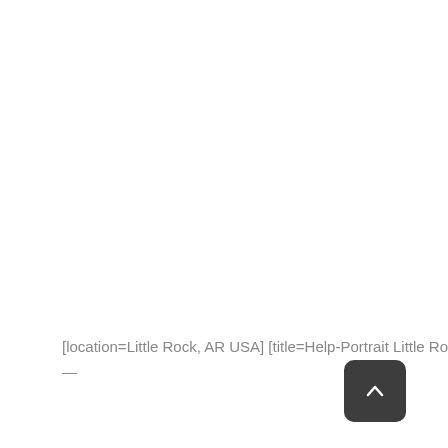[location=Little Rock, AR USA] [title=Help-Portrait Little Rock 2009]
—